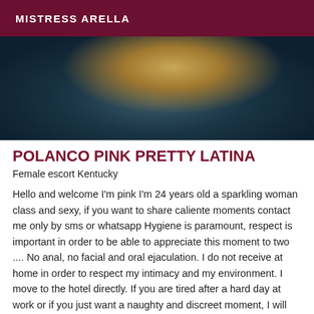MISTRESS ARELLA
[Figure (photo): Blurry close-up photo of a person's face/neck area with dark teal/blue background and warm skin tones]
POLANCO PINK PRETTY LATINA
Female escort Kentucky
Hello and welcome I'm pink I'm 24 years old a sparkling woman class and sexy, if you want to share caliente moments contact me only by sms or whatsapp Hygiene is paramount, respect is important in order to be able to appreciate this moment to two .... No anal, no facial and oral ejaculation. I do not receive at home in order to respect my intimacy and my environment. I move to the hotel directly. If you are tired after a hard day at work or if you just want a naughty and discreet moment, I will wait for you.